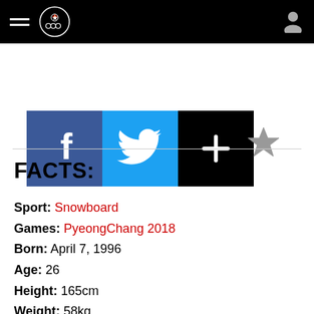Canadian Olympic Committee navigation bar with hamburger menu, logo, and user icon
[Figure (screenshot): Social share buttons: Facebook (blue), Twitter (light blue), Plus (black). Also a grey star/favourite icon on the right.]
FACTS:
Sport: Snowboard
Games: PyeongChang 2018
Born: April 7, 1996
Age: 26
Height: 165cm
Weight: 58kg
Birthplace: Quebec City, Quebec
Home Province: Québec